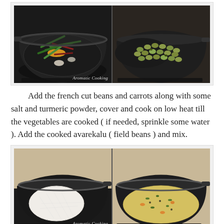[Figure (photo): Two side-by-side photos: left shows a wok with french cut beans, carrots, and turmeric/spices; right shows a wok with green field beans (avarekalu).]
Add the french cut beans and carrots along with some salt and turmeric powder, cover and cook on low heat till the vegetables are cooked ( if needed, sprinkle some water ). Add the cooked avarekalu ( field beans ) and mix.
[Figure (photo): Two side-by-side photos: left shows a wok with cooked white rice sevai added to the vegetable mixture; right shows the final mixed rice sevai dish with yellow turmeric color.]
Now add the cooked and drained rice sevai and mix it gently so as to not break the sevai and make it mushy.